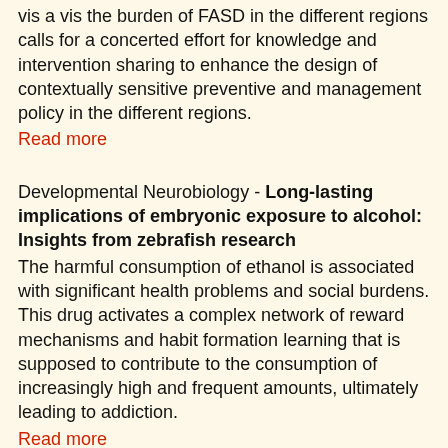vis a vis the burden of FASD in the different regions calls for a concerted effort for knowledge and intervention sharing to enhance the design of contextually sensitive preventive and management policy in the different regions.
Read more
Developmental Neurobiology - Long-lasting implications of embryonic exposure to alcohol: Insights from zebrafish research
The harmful consumption of ethanol is associated with significant health problems and social burdens. This drug activates a complex network of reward mechanisms and habit formation learning that is supposed to contribute to the consumption of increasingly high and frequent amounts, ultimately leading to addiction.
Read more
Psychiatry Research: Neuroimaging - Corpus Callosum Morphometry in Children With Prenatal Alcohol Exposure
Alcohol is known to have a neurotoxic effect on the brain of offspring of mothers consuming alcohol during pregnancy.